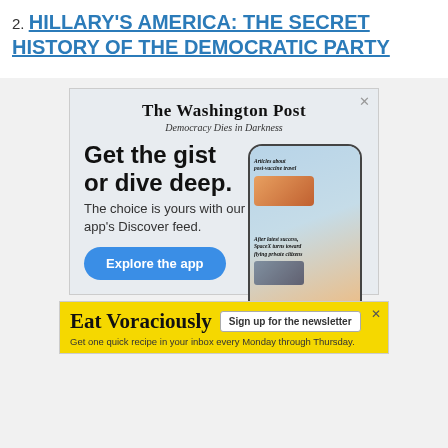2. HILLARY'S AMERICA: THE SECRET HISTORY OF THE DEMOCRATIC PARTY
[Figure (screenshot): Washington Post advertisement: 'Get the gist or dive deep. The choice is yours with our app's Discover feed.' with Explore the app button and phone mockup showing news articles.]
[Figure (screenshot): Eat Voraciously newsletter advertisement: 'Sign up for the newsletter. Get one quick recipe in your inbox every Monday through Thursday.']